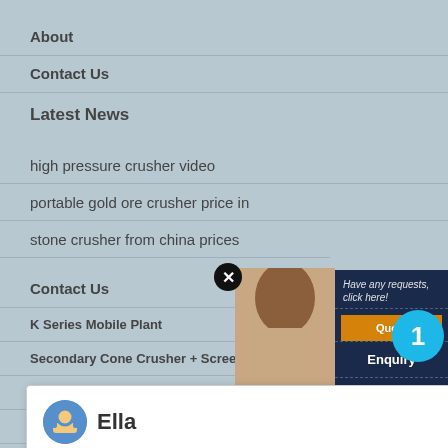About
Contact Us
Latest News
high pressure crusher video
portable gold ore crusher price in
stone crusher from china prices
Ella — Hello, I am Ella, I am very glad to talk with you!
Contact Us
K Series Mobile Plant
Secondary Cone Crusher + Screen
LM Vertical Mill
MTW Trapezium Mill
MW Series Micro Powder Mill
LUM Ultrafino Vertical Roller Mill